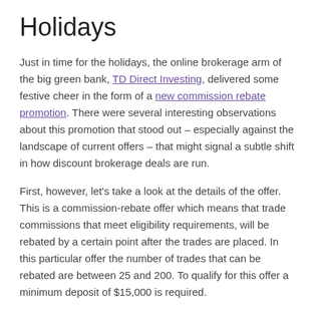Holidays
Just in time for the holidays, the online brokerage arm of the big green bank, TD Direct Investing, delivered some festive cheer in the form of a new commission rebate promotion. There were several interesting observations about this promotion that stood out – especially against the landscape of current offers – that might signal a subtle shift in how discount brokerage deals are run.
First, however, let's take a look at the details of the offer. This is a commission-rebate offer which means that trade commissions that meet eligibility requirements, will be rebated by a certain point after the trades are placed. In this particular offer the number of trades that can be rebated are between 25 and 200. To qualify for this offer a minimum deposit of $15,000 is required.